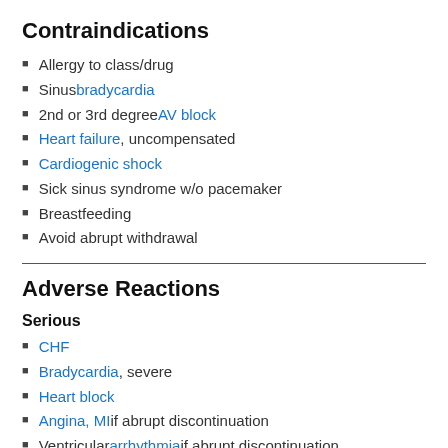Contraindications
Allergy to class/drug
Sinus bradycardia
2nd or 3rd degree AV block
Heart failure, uncompensated
Cardiogenic shock
Sick sinus syndrome w/o pacemaker
Breastfeeding
Avoid abrupt withdrawal
Adverse Reactions
Serious
CHF
Bradycardia, severe
Heart block
Angina, MI if abrupt discontinuation
Ventricular arrhythmia if abrupt discontinuation